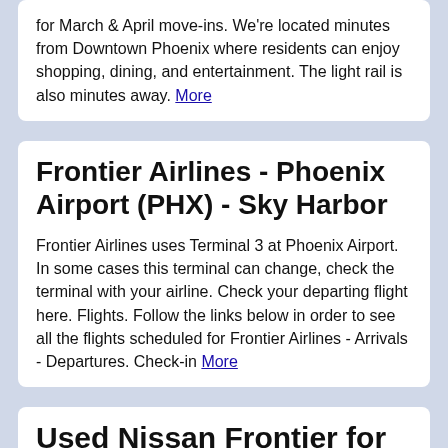for March & April move-ins. We're located minutes from Downtown Phoenix where residents can enjoy shopping, dining, and entertainment. The light rail is also minutes away. More
Frontier Airlines - Phoenix Airport (PHX) - Sky Harbor
Frontier Airlines uses Terminal 3 at Phoenix Airport. In some cases this terminal can change, check the terminal with your airline. Check your departing flight here. Flights. Follow the links below in order to see all the flights scheduled for Frontier Airlines - Arrivals - Departures. Check-in More
Used Nissan Frontier for Sale Right Now in Phoenix, AZ ...